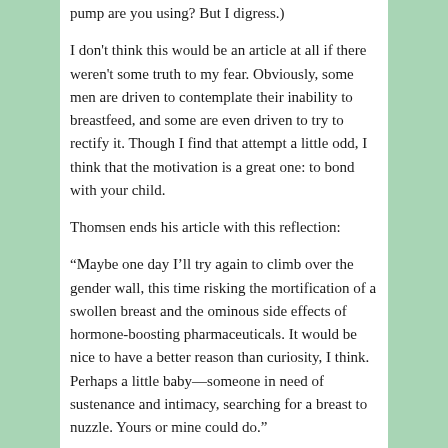pump are you using? But I digress.)
I don't think this would be an article at all if there weren't some truth to my fear. Obviously, some men are driven to contemplate their inability to breastfeed, and some are even driven to try to rectify it. Though I find that attempt a little odd, I think that the motivation is a great one: to bond with your child.
Thomsen ends his article with this reflection:
“Maybe one day I’ll try again to climb over the gender wall, this time risking the mortification of a swollen breast and the ominous side effects of hormone-boosting pharmaceuticals. It would be nice to have a better reason than curiosity, I think. Perhaps a little baby—someone in need of sustenance and intimacy, searching for a breast to nuzzle. Yours or mine could do.”
Thomsen also mentions how breastfeeding has been used as a pawn against gay marriage and gay couples adopting children. This New York article...